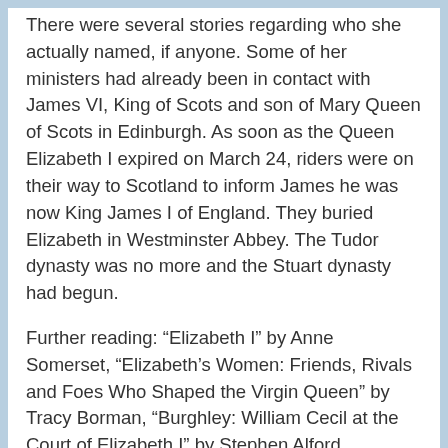There were several stories regarding who she actually named, if anyone. Some of her ministers had already been in contact with James VI, King of Scots and son of Mary Queen of Scots in Edinburgh. As soon as the Queen Elizabeth I expired on March 24, riders were on their way to Scotland to inform James he was now King James I of England. They buried Elizabeth in Westminster Abbey. The Tudor dynasty was no more and the Stuart dynasty had begun.
Further reading: “Elizabeth I” by Anne Somerset, “Elizabeth’s Women: Friends, Rivals and Foes Who Shaped the Virgin Queen” by Tracy Borman, “Burghley: William Cecil at the Court of Elizabeth I” by Stephen Alford, “Elizabeth: The Forgotten Years” by John Guy, “Tudor England” by John Guy, “Mary Queen of Scots: The True Life of Mary Stuart” by